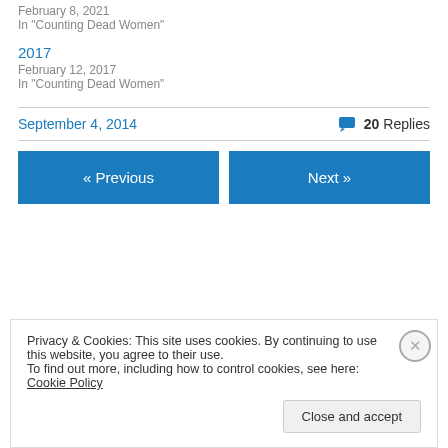February 8, 2021
In "Counting Dead Women"
2017
February 12, 2017
In "Counting Dead Women"
September 4, 2014    20 Replies
« Previous
Next »
Privacy & Cookies: This site uses cookies. By continuing to use this website, you agree to their use. To find out more, including how to control cookies, see here: Cookie Policy
Close and accept